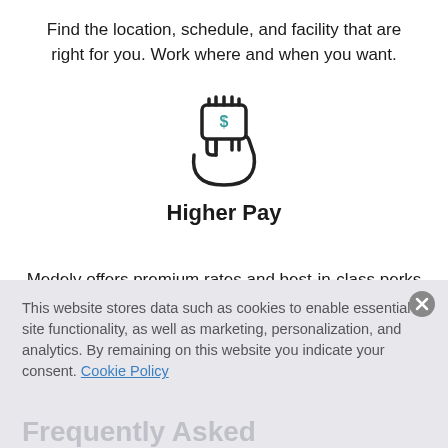Find the location, schedule, and facility that are right for you. Work where and when you want.
[Figure (illustration): Icon of a hand holding a card with a dollar sign, representing payment or financial benefit]
Higher Pay
Medely offers premium rates and best-in-class perks and stipends for travel.
This website stores data such as cookies to enable essential site functionality, as well as marketing, personalization, and analytics. By remaining on this website you indicate your consent. Cookie Policy
Frequently Asked